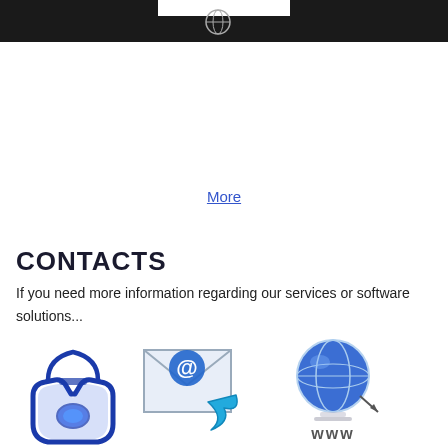More
CONTACTS
If you need more information regarding our services or software solutions...
[Figure (illustration): Three contact icons: a blue telephone handset, an email envelope with @ symbol and arrow, and a globe with WWW text below it]